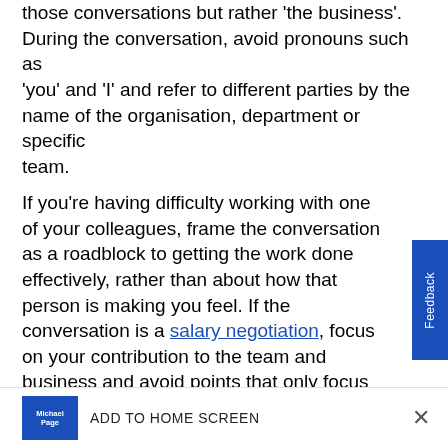those conversations but rather 'the business'. During the conversation, avoid pronouns such as 'you' and 'I' and refer to different parties by the name of the organisation, department or specific team.
If you're having difficulty working with one of your colleagues, frame the conversation as a roadblock to getting the work done effectively, rather than about how that person is making you feel. If the conversation is a salary negotiation, focus on your contribution to the team and business and avoid points that only focus on your needs – such as your family or financial commitments.
ADD TO HOME SCREEN